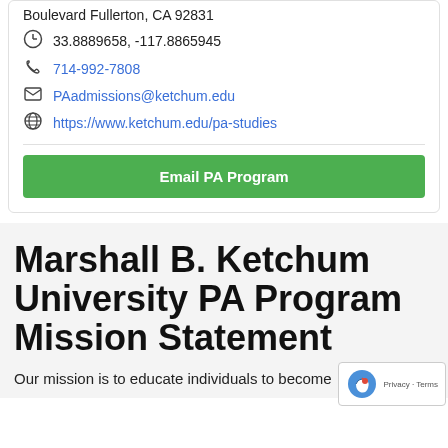Boulevard Fullerton, CA 92831
33.8889658, -117.8865945
714-992-7808
PAadmissions@ketchum.edu
https://www.ketchum.edu/pa-studies
Email PA Program
Marshall B. Ketchum University PA Program Mission Statement
Our mission is to educate individuals to become competent Physician Assistants who serve the